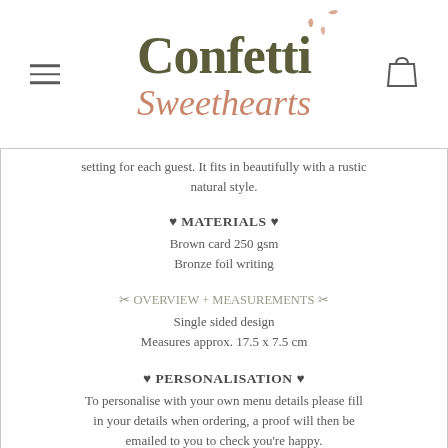Confetti Sweethearts
setting for each guest. It fits in beautifully with a rustic natural style.
♥ MATERIALS ♥
Brown card 250 gsm
Bronze foil writing
✂ OVERVIEW + MEASUREMENTS ✂
Single sided design
Measures approx. 17.5 x 7.5 cm
♥ PERSONALISATION ♥
To personalise with your own menu details please fill in your details when ordering, a proof will then be emailed to you to check you're happy.
✉ PROCESSING + SHIPPING TIMES ✉
These menus are made to order so please allow 1-3